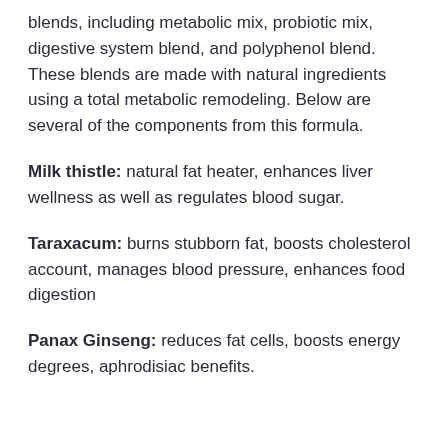blends, including metabolic mix, probiotic mix, digestive system blend, and polyphenol blend. These blends are made with natural ingredients using a total metabolic remodeling. Below are several of the components from this formula.
Milk thistle: natural fat heater, enhances liver wellness as well as regulates blood sugar.
Taraxacum: burns stubborn fat, boosts cholesterol account, manages blood pressure, enhances food digestion
Panax Ginseng: reduces fat cells, boosts energy degrees, aphrodisiac benefits.